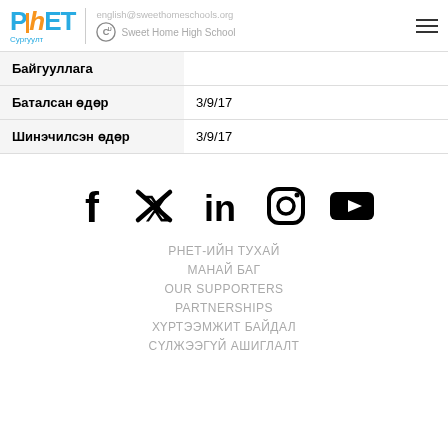PhET | english@sweethomeschools.org Sweet Home High School
| Байгууллага |  |
| Баталсан өдөр | 3/9/17 |
| Шинэчилсэн өдөр | 3/9/17 |
[Figure (infographic): Social media icons: Facebook, Twitter, LinkedIn, Instagram, YouTube]
РНЕТ-ИЙН ТУХАЙ
МАНАЙ БАГ
OUR SUPPORTERS
PARTNERSHIPS
ХҮРТЭЭМЖИТ БАЙДАЛ
СҮЛЖЭЭГҮЙ АШИГЛАЛТ